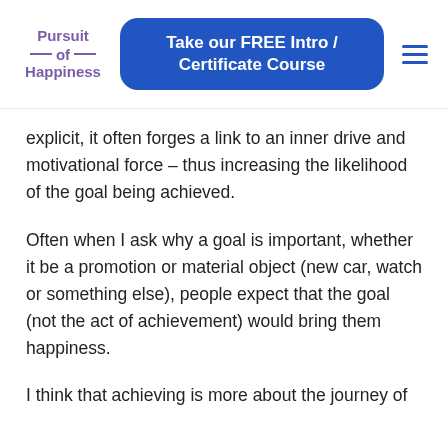Pursuit of Happiness | Take our FREE Intro / Certificate Course
explicit, it often forges a link to an inner drive and motivational force – thus increasing the likelihood of the goal being achieved.
Often when I ask why a goal is important, whether it be a promotion or material object (new car, watch or something else), people expect that the goal (not the act of achievement) would bring them happiness.
I think that achieving...